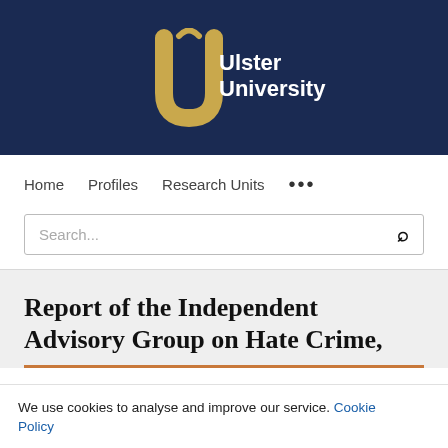[Figure (logo): Ulster University logo: gold stylized 'U' with bird motif on dark navy background, with 'Ulster University' in white bold text]
Home  Profiles  Research Units  ...
Search...
Report of the Independent Advisory Group on Hate Crime,
We use cookies to analyse and improve our service. Cookie Policy